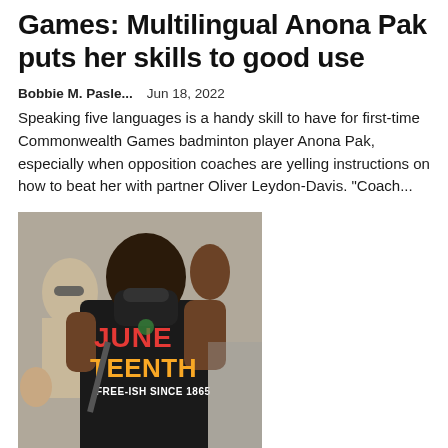Games: Multilingual Anona Pak puts her skills to good use
Bobbie M. Pasle...   Jun 18, 2022
Speaking five languages is a handy skill to have for first-time Commonwealth Games badminton player Anona Pak, especially when opposition coaches are yelling instructions on how to beat her with partner Oliver Leydon-Davis. "Coach...
[Figure (photo): A person wearing a black Juneteenth t-shirt that reads 'JUNE TEENTH FREE-ISH SINCE 1865' in red, green and yellow text, wearing a black face mask, photographed outdoors in a crowd.]
What are the other names of Juneteenth? The United States